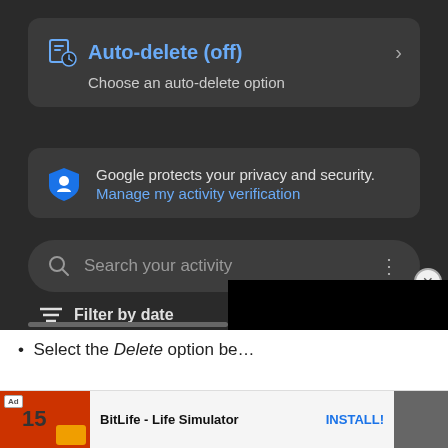[Figure (screenshot): Google My Activity dark-mode UI showing Auto-delete (off) card, privacy notice, search bar, and filter by date row]
Select the Delete option be…
Ad — BitLife - Life Simulator — INSTALL!